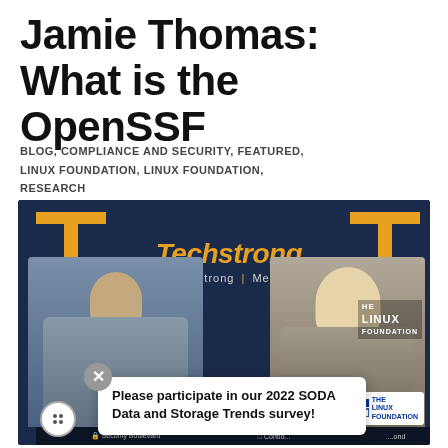Jamie Thomas: What is the OpenSSF
BLOG, COMPLIANCE AND SECURITY, FEATURED, LINUX FOUNDATION, LINUX FOUNDATION, RESEARCH
[Figure (photo): Two people seated in front of a Techstrong Media branded backdrop at an event, with a popup overlay reading 'Please participate in our 2022 SODA Data and Storage Trends survey!' and Linux Foundation logo visible]